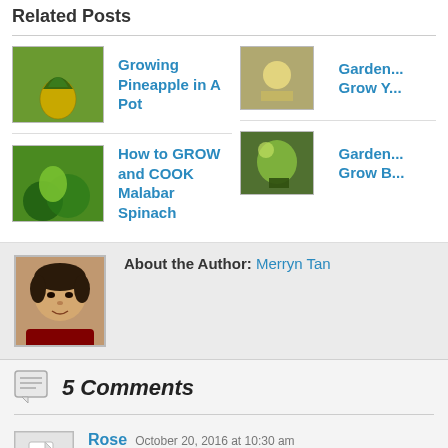Related Posts
Growing Pineapple in A Pot
[Figure (photo): Thumbnail image of a pineapple plant]
Garden... Grow Y...
[Figure (photo): Thumbnail image of a garden related post]
How to GROW and COOK Malabar Spinach
[Figure (photo): Thumbnail image of Malabar spinach]
Garden... Grow B...
[Figure (photo): Thumbnail image of a garden related post]
About the Author: Merryn Tan
[Figure (photo): Author photo of Merryn Tan - child's face]
5 Comments
Rose October 20, 2016 at 10:30 am
[Figure (photo): Comment avatar placeholder with broken image icon]